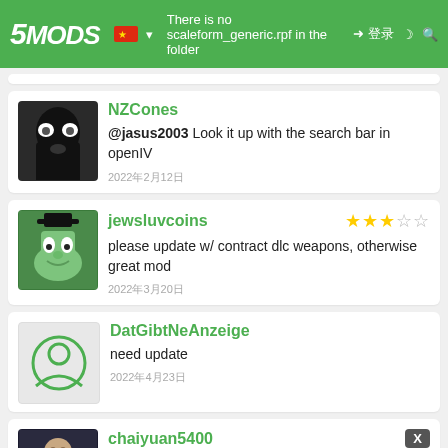5MODS — There is no scaleform_generic.rpf in the folder
NZCones
@jasus2003 Look it up with the search bar in openIV
2022年2月12日
jewsluvcoins ★★★☆☆
please update w/ contract dlc weapons, otherwise great mod
2022年3月20日
DatGibtNeAnzeige
need update
2022年4月23日
chaiyuan5400 [X]
□□□□□□□□□□
2022年5月01日